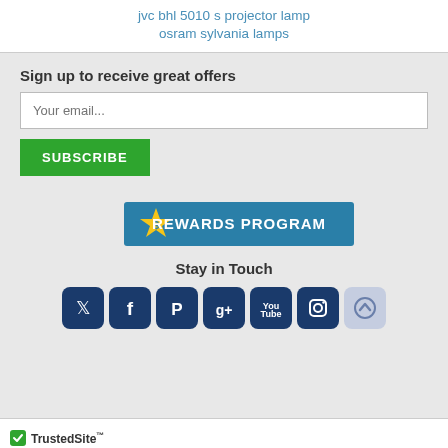jvc bhl 5010 s projector lamp
osram sylvania lamps
Sign up to receive great offers
[Figure (screenshot): Email input field with placeholder 'Your email...' and a green SUBSCRIBE button below]
[Figure (infographic): Rewards Program banner with gold star and dollar sign icon on teal background]
Stay in Touch
[Figure (infographic): Social media icons: Twitter, Facebook, Pinterest, Google+, YouTube, Instagram, and a scroll-to-top button]
[Figure (logo): TrustedSite badge with green checkmark]